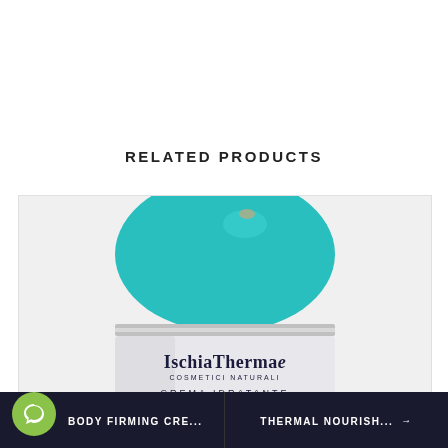RELATED PRODUCTS
[Figure (photo): Close-up photo of an Ischia Thermae Cosmetici Naturali moisturizing cream jar (Crema Idratante) with a teal/turquoise domed lid, shown on a light gray background. The jar has a silver band below the teal lid and the label reads 'Ischia Thermae Cosmetici Naturali CREMA IDRATANTE'.]
BODY FIRMING CRE...
THERMAL NOURISH...